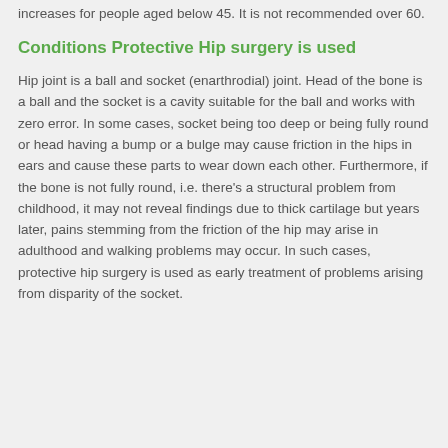increases for people aged below 45. It is not recommended over 60.
Conditions Protective Hip surgery is used
Hip joint is a ball and socket (enarthrodial) joint. Head of the bone is a ball and the socket is a cavity suitable for the ball and works with zero error. In some cases, socket being too deep or being fully round or head having a bump or a bulge may cause friction in the hips in ears and cause these parts to wear down each other. Furthermore, if the bone is not fully round, i.e. there's a structural problem from childhood, it may not reveal findings due to thick cartilage but years later, pains stemming from the friction of the hip may arise in adulthood and walking problems may occur. In such cases, protective hip surgery is used as early treatment of problems arising from disparity of the socket.